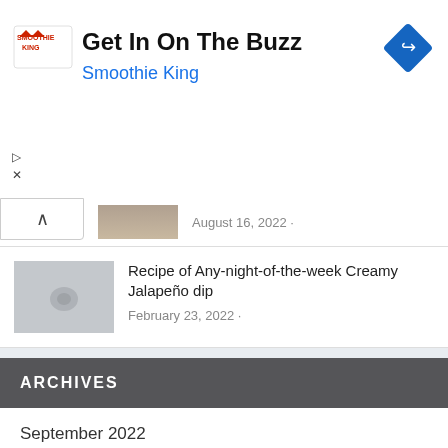[Figure (infographic): Smoothie King advertisement banner with logo, text 'Get In On The Buzz', 'Smoothie King' subtitle in blue, and a blue diamond-shaped navigation arrow button on the right.]
August 16, 2022 ·
Recipe of Any-night-of-the-week Creamy Jalapeño dip
February 23, 2022 ·
ARCHIVES
September 2022
August 2022
July 2022